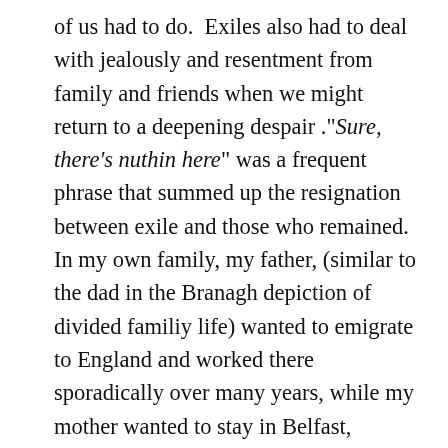of us had to do.  Exiles also had to deal with jealously and resentment from family and friends when we might return to a deepening despair ."Sure, there's nuthin here" was a frequent phrase that summed up the resignation between exile and those who remained. In my own family, my father, (similar to the dad in the Branagh depiction of divided familiy life) wanted to emigrate to England and worked there sporadically over many years, while my mother wanted to stay in Belfast, beause it was all she knew. The picture of the cousins at a birthday party (above) describes part of that deep family connection that people valued more than exile. University provided a via media for a generation who